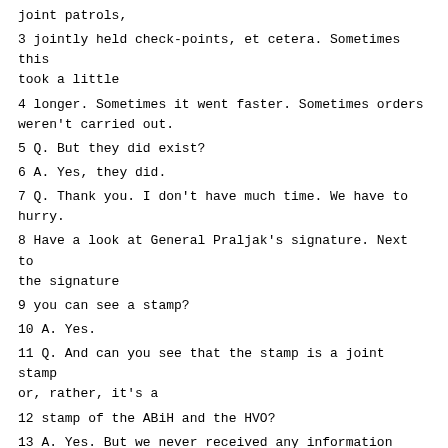joint patrols,
3 jointly held check-points, et cetera. Sometimes this took a little
4 longer. Sometimes it went faster. Sometimes orders weren't carried out.
5 Q. But they did exist?
6 A. Yes, they did.
7 Q. Thank you. I don't have much time. We have to hurry.
8 Have a look at General Praljak's signature. Next to the signature
9 you can see a stamp?
10 A. Yes.
11 Q. And can you see that the stamp is a joint stamp or, rather, it's a
12 stamp of the ABiH and the HVO?
13 A. Yes. But we never received any information about the existence of
14 such a staff. Had we seen -- we never saw such a stamp. I'm not saying